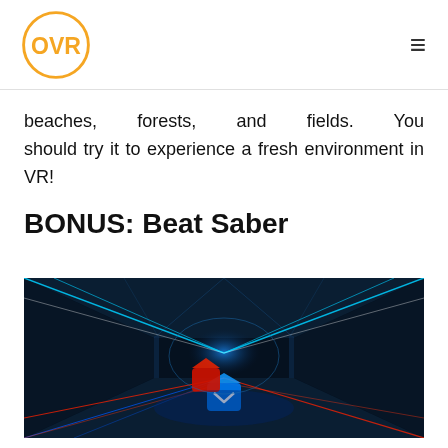OVR logo and navigation menu
beaches, forests, and fields. You should try it to experience a fresh environment in VR!
BONUS: Beat Saber
[Figure (photo): Beat Saber game screenshot showing a futuristic tunnel environment with neon blue and red laser beams, and red and blue saber controllers in the center.]